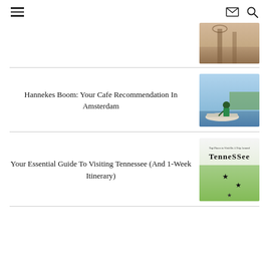Navigation menu, email, and search icons
[Figure (photo): Partial view of a bridge over water, misty atmospheric photo]
Hannekes Boom: Your Cafe Recommendation In Amsterdam
[Figure (photo): Person leaning over a boat on a river, green trees in background]
Your Essential Guide To Visiting Tennessee (And 1-Week Itinerary)
[Figure (illustration): Tennessee travel guide illustration with text 'Top Places to Visit On A Trip Around Tennessee' on green background with stars]